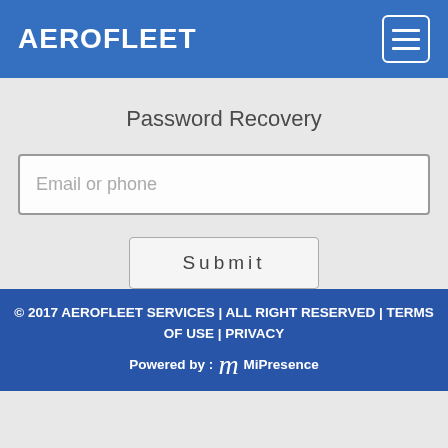AEROFLEET
Password Recovery
Email or phone
Submit
© 2017 AEROFLEET SERVICES | ALL RIGHT RESERVED | TERMS OF USE | PRIVACY
Powered by : MiPresence